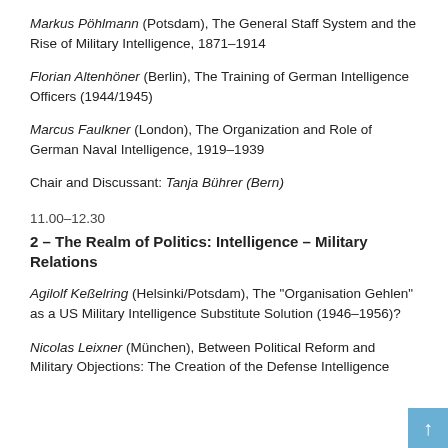Markus Pöhlmann (Potsdam), The General Staff System and the Rise of Military Intelligence, 1871–1914
Florian Altenhöner (Berlin), The Training of German Intelligence Officers (1944/1945)
Marcus Faulkner (London), The Organization and Role of German Naval Intelligence, 1919–1939
Chair and Discussant: Tanja Bührer (Bern)
11.00–12.30
2 – The Realm of Politics: Intelligence – Military Relations
Agilolf Keßelring (Helsinki/Potsdam), The "Organisation Gehlen" as a US Military Intelligence Substitute Solution (1946–1956)?
Nicolas Leixner (München), Between Political Reform and Military Objections: The Creation of the Defense Intelligence